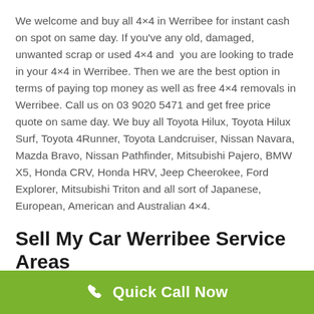We welcome and buy all 4×4 in Werribee for instant cash on spot on same day. If you've any old, damaged, unwanted scrap or used 4×4 and you are looking to trade in your 4×4 in Werribee. Then we are the best option in terms of paying top money as well as free 4×4 removals in Werribee. Call us on 03 9020 5471 and get free price quote on same day. We buy all Toyota Hilux, Toyota Hilux Surf, Toyota 4Runner, Toyota Landcruiser, Nissan Navara, Mazda Bravo, Nissan Pathfinder, Mitsubishi Pajero, BMW X5, Honda CRV, Honda HRV, Jeep Cheerokee, Ford Explorer, Mitsubishi Triton and all sort of Japanese, European, American and Australian 4×4.
Sell My Car Werribee Service Areas
[Figure (other): Green call-to-action bar with phone icon and text 'Quick Call Now']